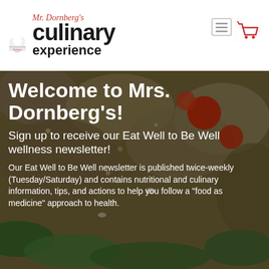[Figure (logo): Mrs. Dornberg's Culinary Experience logo with chef hat icon, red italic text and bold black text]
[Figure (screenshot): Navigation icons: hamburger menu icon in a box and a shopping cart icon]
[Figure (photo): Background photo of a quinoa salad with tomatoes, greens, and vegetables, darkened with overlay]
Welcome to Mrs. Dornberg's!
Sign up to receive our Eat Well to Be Well wellness newsletter!
Our Eat Well to Be Well newsletter is published twice-weekly (Tuesday/Saturday) and contains nutritional and culinary information, tips, and actions to help you follow a "food as medicine" approach to health.